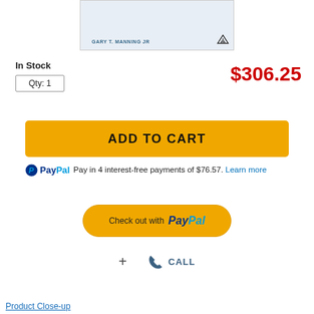[Figure (photo): Product image showing a book or card with 'GARY T. MANNING JR' text and Adidas logo on a light blue background]
In Stock
Qty: 1
$306.25
ADD TO CART
PayPal Pay in 4 interest-free payments of $76.57. Learn more
Check out with PayPal
+ CALL
Product Close-up